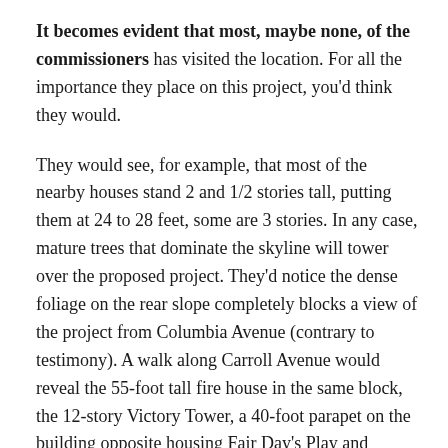It becomes evident that most, maybe none, of the commissioners has visited the location. For all the importance they place on this project, you'd think they would.
They would see, for example, that most of the nearby houses stand 2 and 1/2 stories tall, putting them at 24 to 28 feet, some are 3 stories. In any case, mature trees that dominate the skyline will tower over the proposed project. They'd notice the dense foliage on the rear slope completely blocks a view of the project from Columbia Avenue (contrary to testimony). A walk along Carroll Avenue would reveal the 55-foot tall fire house in the same block, the 12-story Victory Tower, a 40-foot parapet on the building opposite housing Fair Day's Play and offices, a 3-story rental property next to it adjacent to more structures with very high parapets. Around the corner on Carroll is the Bank of America with high parapets and then the 10-story Takoma